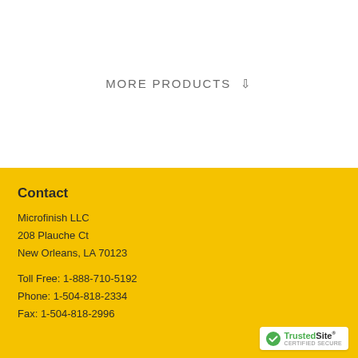MORE PRODUCTS ⇩
Contact
Microfinish LLC
208 Plauche Ct
New Orleans, LA 70123
Toll Free: 1-888-710-5192
Phone: 1-504-818-2334
Fax: 1-504-818-2996
[Figure (logo): TrustedSite Certified Secure badge with green checkmark]